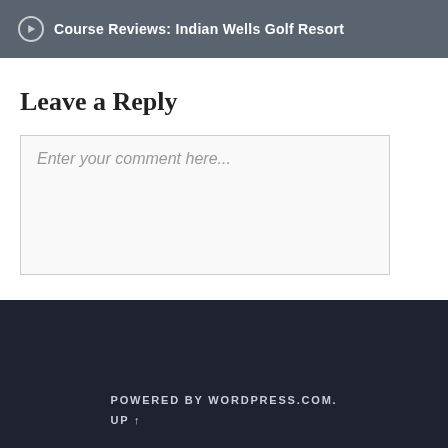Course Reviews: Indian Wells Golf Resort
Leave a Reply
Enter your comment here...
POWERED BY WORDPRESS.COM. UP ↑